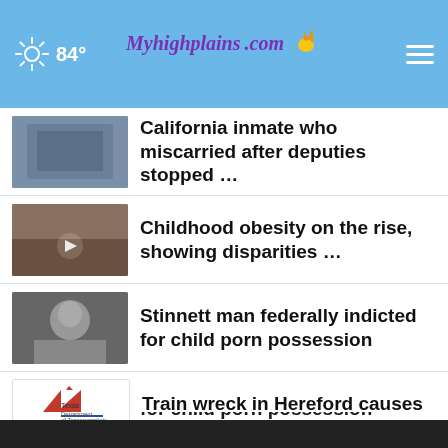84° Myhighplains.com
[Figure (photo): Partial thumbnail of top news item (cropped, reddish tones)]
[Figure (photo): Thumbnail image of a building exterior for California inmate story]
California inmate who miscarried after deputies stopped …
[Figure (photo): Thumbnail with play button for childhood obesity video story]
Childhood obesity on the rise, showing disparities …
[Figure (photo): Mugshot thumbnail for Stinnett man story]
Stinnett man federally indicted for child porn possession
[Figure (logo): Texas Department of Transportation / Amarillo logo thumbnail]
Train wreck in Hereford causes intersection to be …
More Stories ›